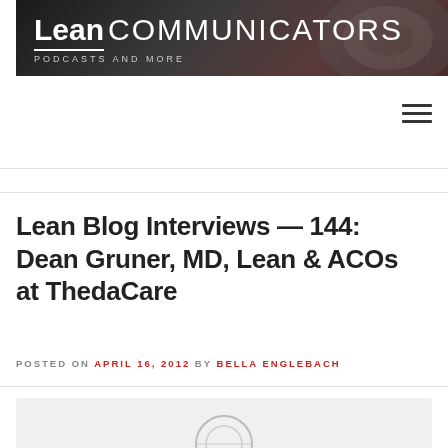[Figure (illustration): Lean Communicators podcast banner with microphone background, bold white text reading Lean COMMUNICATORS, PODCASTS AND MORE subtitle, with a white underline beneath Lean]
Lean Blog Interviews — 144: Dean Gruner, MD, Lean & ACOs at ThedaCare
POSTED ON APRIL 16, 2012 BY BELLA ENGLEBACH
[Figure (illustration): Partial view of a microphone icon at the bottom of the page in a light gray box]